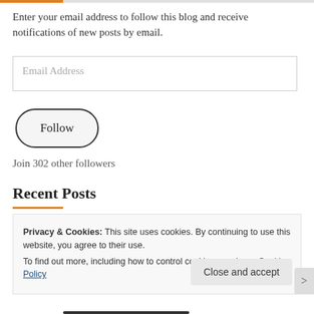Enter your email address to follow this blog and receive notifications of new posts by email.
[Figure (screenshot): Email address input field with placeholder text 'Email Address']
[Figure (screenshot): Follow button with rounded border]
Join 302 other followers
Recent Posts
Privacy & Cookies: This site uses cookies. By continuing to use this website, you agree to their use.
To find out more, including how to control cookies, see here: Cookie Policy
[Figure (screenshot): Close and accept button]